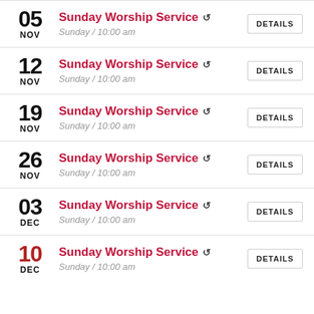05 NOV — Sunday Worship Service — Sunday / 10:00 am — DETAILS
12 NOV — Sunday Worship Service — Sunday / 10:00 am — DETAILS
19 NOV — Sunday Worship Service — Sunday / 10:00 am — DETAILS
26 NOV — Sunday Worship Service — Sunday / 10:00 am — DETAILS
03 DEC — Sunday Worship Service — Sunday / 10:00 am — DETAILS
10 DEC — Sunday Worship Service — Sunday / 10:00 am — DETAILS